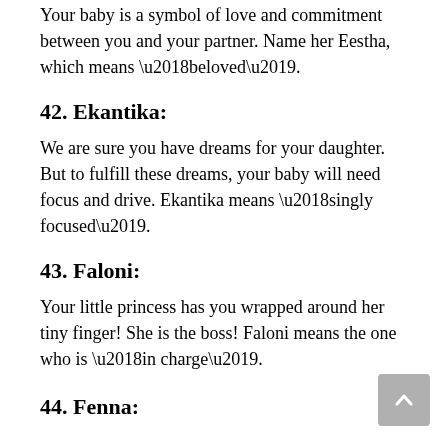Your baby is a symbol of love and commitment between you and your partner. Name her Eestha, which means ‘beloved’.
42. Ekantika:
We are sure you have dreams for your daughter. But to fulfill these dreams, your baby will need focus and drive. Ekantika means ‘singly focused’.
43. Faloni:
Your little princess has you wrapped around her tiny finger! She is the boss! Faloni means the one who is ‘in charge’.
44. Fenna: